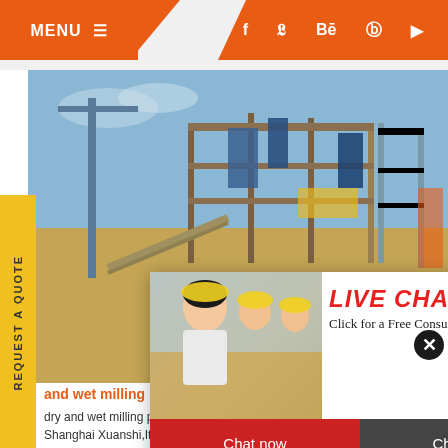MENU ≡   f  y  Bē  ⊕  ▶
[Figure (photo): Industrial construction site with cranes and metal framework structures against blue sky]
[Figure (photo): Live chat popup with workers in yellow hard hats and a female customer service agent with headset. Contains LIVE CHAT header, 'Click for a Free Consultation' subtitle, and Chat now / Chat later buttons.]
REQUEST A QUOTE
and wet milling process of asbestos
C&M Mac
dry and wet milling process of asbestos is ma Shanghai Xuanshi,It is the main mineral proc XSM stone crushing machine project-dry and
Have any requests, click here.
Quot
Enquiry
drobilkalm